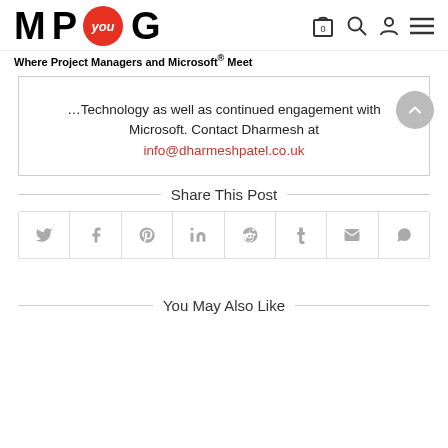M P you G — Where Project Managers and Microsoft® Meet
Technology as well as continued engagement with Microsoft.  Contact Dharmesh at info@dharmeshpatel.co.uk
Share This Post
[Figure (other): Social share buttons row: Twitter, Facebook, Pinterest, LinkedIn, Reddit, Tumblr, Email, WhatsApp]
You May Also Like